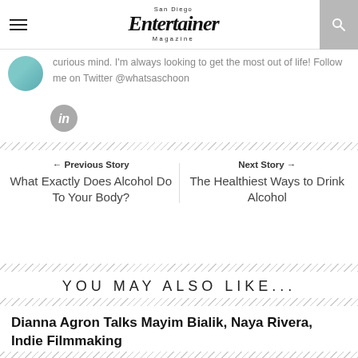San Diego Entertainer Magazine
curious mind. I'm always looking to get the most out of life! Follow me on Twitter @whatsaschoon
[Figure (logo): LinkedIn logo icon, circular grey button with 'in']
← Previous Story
What Exactly Does Alcohol Do To Your Body?
Next Story →
The Healthiest Ways to Drink Alcohol
YOU MAY ALSO LIKE...
Dianna Agron Talks Mayim Bialik, Naya Rivera, Indie Filmmaking